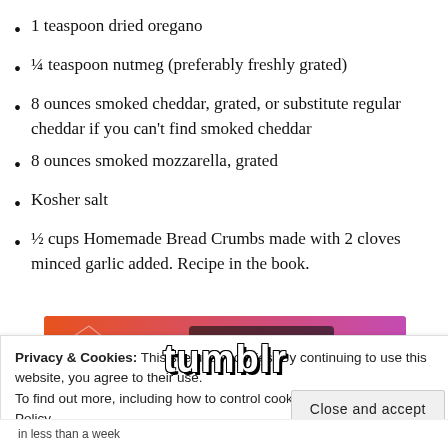1 teaspoon dried oregano
¼ teaspoon nutmeg (preferably freshly grated)
8 ounces smoked cheddar, grated, or substitute regular cheddar if you can't find smoked cheddar
8 ounces smoked mozzarella, grated
Kosher salt
½ cups Homemade Bread Crumbs made with 2 cloves minced garlic added. Recipe in the book.
[Figure (logo): Tumblr logo banner with colorful doodle background in orange and purple gradient]
Privacy & Cookies: This site uses cookies. By continuing to use this website, you agree to their use. To find out more, including how to control cookies, see here: Cookie Policy
in less than a week